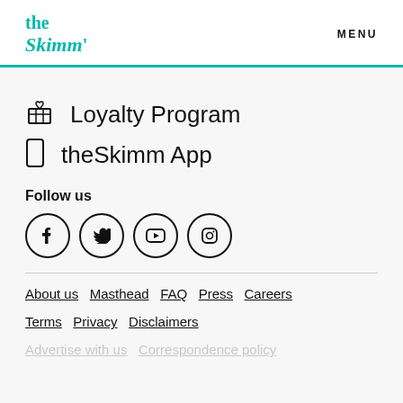the Skimm' | MENU
🎁 Loyalty Program
📱 theSkimm App
Follow us
[Figure (other): Social media icon buttons: Facebook, Twitter, YouTube, Instagram]
About us  Masthead  FAQ  Press  Careers
Terms  Privacy  Disclaimers